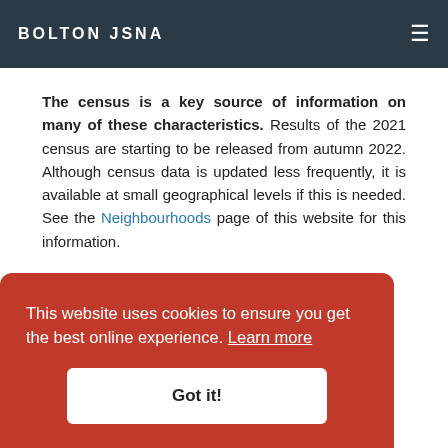BOLTON JSNA
The census is a key source of information on many of these characteristics. Results of the 2021 census are starting to be released from autumn 2022. Although census data is updated less frequently, it is available at small geographical levels if this is needed. See the Neighbourhoods page of this website for this information.
The harmonisation guidance provides standard...ely
This website uses cookies to ensure you get the best online experience. Learn more
Got it!